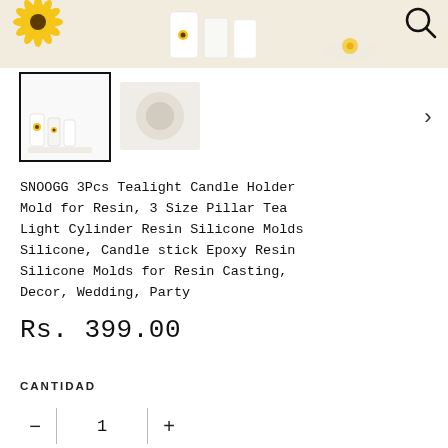[Figure (photo): Top banner photo showing sunflowers and white candle holders on a light background, with a search (magnifying glass) icon in the top right corner.]
[Figure (photo): Thumbnail row with two product images: first (selected, with border) showing white cylinder candle holders with sunflower designs, second showing a partial/zoomed view. Arrow pointing right on the far right.]
SNOOGG 3Pcs Tealight Candle Holder Mold for Resin, 3 Size Pillar Tea Light Cylinder Resin Silicone Molds Silicone, Candle stick Epoxy Resin Silicone Molds for Resin Casting, Decor, Wedding, Party
Rs. 399.00
CANTIDAD
1